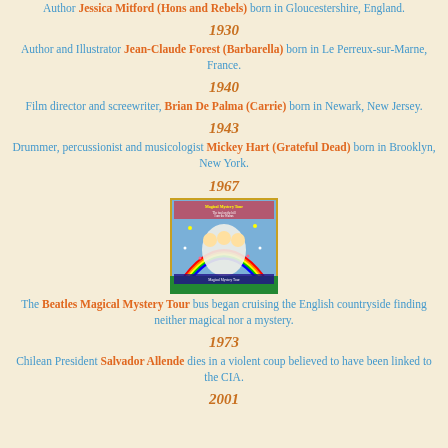Author Jessica Mitford (Hons and Rebels) born in Gloucestershire, England.
1930
Author and Illustrator Jean-Claude Forest (Barbarella) born in Le Perreux-sur-Marne, France.
1940
Film director and screewriter, Brian De Palma (Carrie) born in Newark, New Jersey.
1943
Drummer, percussionist and musicologist Mickey Hart (Grateful Dead) born in Brooklyn, New York.
1967
[Figure (photo): Album cover of The Beatles Magical Mystery Tour]
The Beatles Magical Mystery Tour bus began cruising the English countryside finding neither magical nor a mystery.
1973
Chilean President Salvador Allende dies in a violent coup believed to have been linked to the CIA.
2001